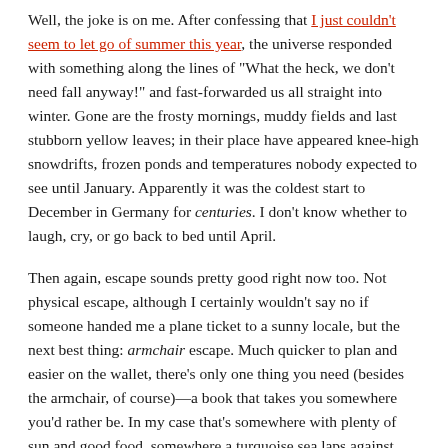Well, the joke is on me. After confessing that I just couldn't seem to let go of summer this year, the universe responded with something along the lines of "What the heck, we don't need fall anyway!" and fast-forwarded us all straight into winter. Gone are the frosty mornings, muddy fields and last stubborn yellow leaves; in their place have appeared knee-high snowdrifts, frozen ponds and temperatures nobody expected to see until January. Apparently it was the coldest start to December in Germany for centuries. I don't know whether to laugh, cry, or go back to bed until April.
Then again, escape sounds pretty good right now too. Not physical escape, although I certainly wouldn't say no if someone handed me a plane ticket to a sunny locale, but the next best thing: armchair escape. Much quicker to plan and easier on the wallet, there's only one thing you need (besides the armchair, of course)—a book that takes you somewhere you'd rather be. In my case that's somewhere with plenty of sun and good food, somewhere a turquoise sea laps against fragrant orchard-covered hills, somewhere like Calabria, the enchanting region at the toe of the Italian boot. Feel like coming with me?